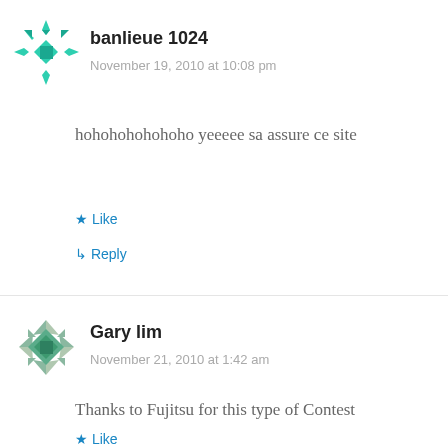banlieue 1024
November 19, 2010 at 10:08 pm
hohohohohohoho yeeeee sa assure ce site
Like
Reply
Gary lim
November 21, 2010 at 1:42 am
Thanks to Fujitsu for this type of Contest
Like